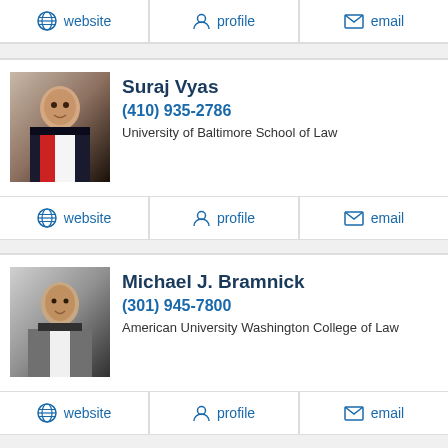website | profile | email
[Figure (photo): Headshot of Suraj Vyas, man in dark suit with red tie]
Suraj Vyas
(410) 935-2786
University of Baltimore School of Law
website | profile | email
[Figure (photo): Headshot of Michael J. Bramnick, man in grey suit]
Michael J. Bramnick
(301) 945-7800
American University Washington College of Law
website | profile | email